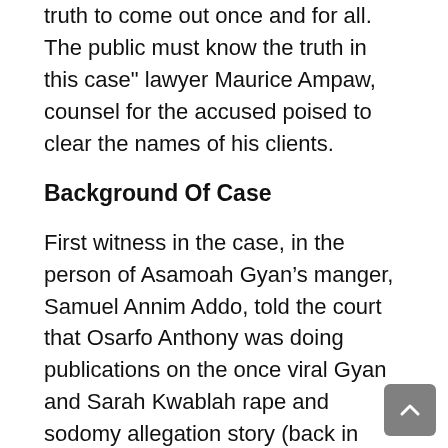truth to come out once and for all. The public must know the truth in this case" lawyer Maurice Ampaw, counsel for the accused poised to clear the names of his clients.
Background Of Case
First witness in the case, in the person of Asamoah Gyan’s manger, Samuel Annim Addo, told the court that Osarfo Anthony was doing publications on the once viral Gyan and Sarah Kwablah rape and sodomy allegation story (back in 2015).
A witness in the case, Nii Amarh Armateifio, a worker then at Radio XYZ, approached Osarfo and asked him to stop the publication and that